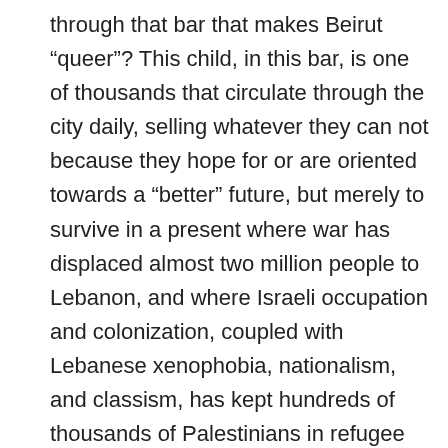through that bar that makes Beirut “queer”? This child, in this bar, is one of thousands that circulate through the city daily, selling whatever they can not because they hope for or are oriented towards a “better” future, but merely to survive in a present where war has displaced almost two million people to Lebanon, and where Israeli occupation and colonization, coupled with Lebanese xenophobia, nationalism, and classism, has kept hundreds of thousands of Palestinians in refugee camps. Laws and policies ensure that Syrian and Palestinian refugees remain in an inferior position to Lebanese citizens economically, socially, and politically. Both Syrian and Palestinian refugees are hyper-visible and securitized through gendered and sexed discourses on terrorism, religious extremism, and Islam (and increasingly, discourses on